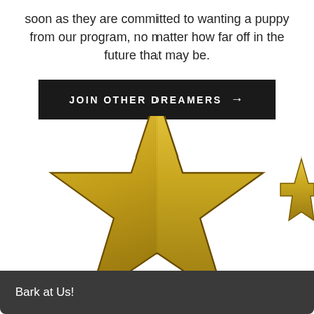soon as they are committed to wanting a puppy from our program, no matter how far off in the future that may be.
JOIN OTHER DREAMERS →
[Figure (illustration): A large 3D gold metallic star partially visible, cropped at the bottom of the page, with a second smaller star partially visible at the right edge.]
Bark at Us!